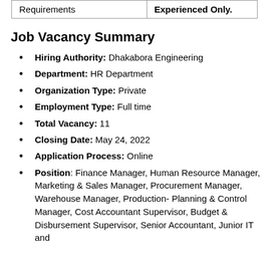| Requirements | Experienced Only. |
| --- | --- |
Job Vacancy Summary
Hiring Authority: Dhakabora Engineering
Department: HR Department
Organization Type: Private
Employment Type: Full time
Total Vacancy: 11
Closing Date: May 24, 2022
Application Process: Online
Position: Finance Manager, Human Resource Manager, Marketing & Sales Manager, Procurement Manager, Warehouse Manager, Production- Planning & Control Manager, Cost Accountant Supervisor, Budget & Disbursement Supervisor, Senior Accountant, Junior IT and